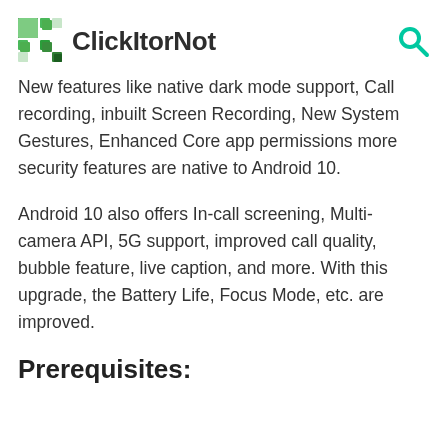ClickItorNot
New features like native dark mode support, Call recording, inbuilt Screen Recording, New System Gestures, Enhanced Core app permissions more security features are native to Android 10.
Android 10 also offers In-call screening, Multi-camera API, 5G support, improved call quality, bubble feature, live caption, and more. With this upgrade, the Battery Life, Focus Mode, etc. are improved.
Prerequisites: